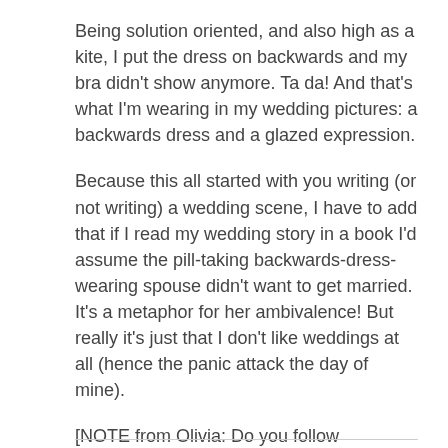Being solution oriented, and also high as a kite, I put the dress on backwards and my bra didn't show anymore. Ta da! And that's what I'm wearing in my wedding pictures: a backwards dress and a glazed expression.
Because this all started with you writing (or not writing) a wedding scene, I have to add that if I read my wedding story in a book I'd assume the pill-taking backwards-dress-wearing spouse didn't want to get married. It's a metaphor for her ambivalence! But really it's just that I don't like weddings at all (hence the panic attack the day of mine).
[NOTE from Olivia: Do you follow @CatSWrites on Twitter? No? Well, GET ON IT, PEOPLE.]